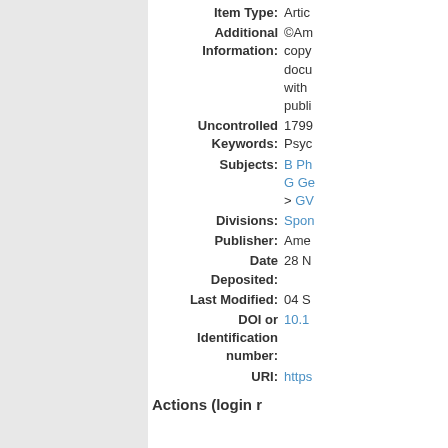| Field | Value |
| --- | --- |
| Item Type: | Artic... |
| Additional Information: | ©Am... copy... docu... with... publi... |
| Uncontrolled Keywords: | 1799... Psyc... |
| Subjects: | B Ph...
G Ge...
> GV... |
| Divisions: | Spor... |
| Publisher: | Ame... |
| Date Deposited: | 28 N... |
| Last Modified: | 04 S... |
| DOI or Identification number: | 10.1... |
| URI: | https... |
Actions (login r...